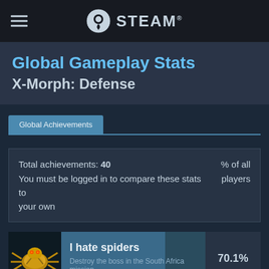STEAM
Global Gameplay Stats
X-Morph: Defense
Global Achievements
Total achievements: 40
You must be logged in to compare these stats to your own
% of all players
I hate spiders
Destroy the boss in the South Africa mission.
70.1%